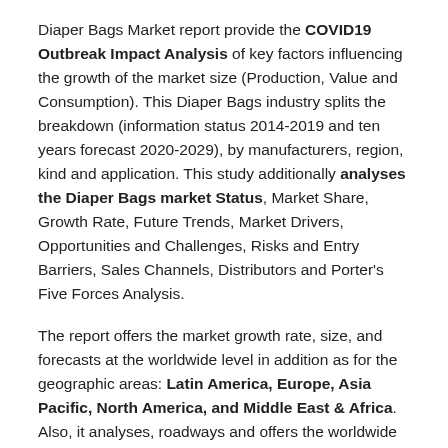Diaper Bags Market report provide the COVID19 Outbreak Impact Analysis of key factors influencing the growth of the market size (Production, Value and Consumption). This Diaper Bags industry splits the breakdown (information status 2014-2019 and ten years forecast 2020-2029), by manufacturers, region, kind and application. This study additionally analyses the Diaper Bags market Status, Market Share, Growth Rate, Future Trends, Market Drivers, Opportunities and Challenges, Risks and Entry Barriers, Sales Channels, Distributors and Porter's Five Forces Analysis.
The report offers the market growth rate, size, and forecasts at the worldwide level in addition as for the geographic areas: Latin America, Europe, Asia Pacific, North America, and Middle East & Africa. Also, it analyses, roadways and offers the worldwide market size of the main players in each region. Moreover, the report gives expertise of the leading market players within the Diaper Bags Market. The enterprise-changing elements for the market segments